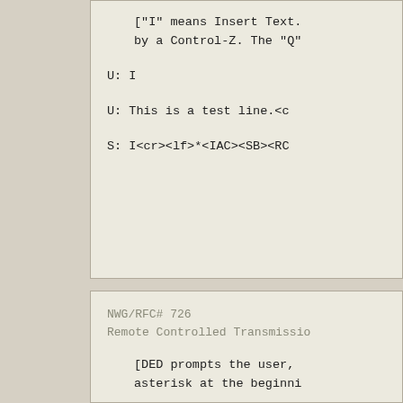["I" means Insert Text. by a Control-Z. The "Q"
U: I
U: This is a test line.<c
S: I<cr><lf>*<IAC><SB><RC
NWG/RFC# 726
Remote Controlled Transmissio
[DED prompts the user,
asterisk at the beginni